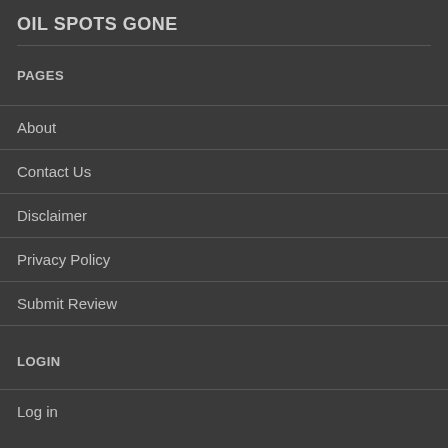OIL SPOTS GONE
PAGES
About
Contact Us
Disclaimer
Privacy Policy
Submit Review
LOGIN
Log in